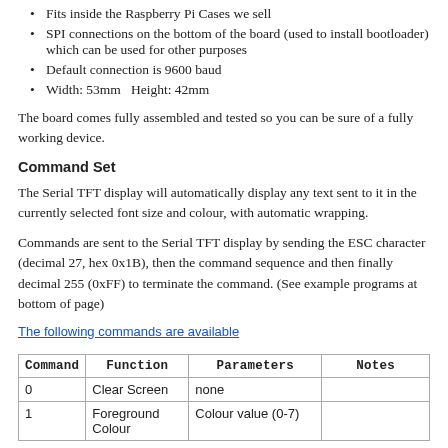Fits inside the Raspberry Pi Cases we sell
SPI connections on the bottom of the board (used to install bootloader) which can be used for other purposes
Default connection is 9600 baud
Width: 53mm  Height: 42mm
The board comes fully assembled and tested so you can be sure of a fully working device.
Command Set
The Serial TFT display will automatically display any text sent to it in the currently selected font size and colour, with automatic wrapping.
Commands are sent to the Serial TFT display by sending the ESC character (decimal 27, hex 0x1B), then the command sequence and then finally decimal 255 (0xFF) to terminate the command. (See example programs at bottom of page)
The following commands are available
| Command | Function | Parameters | Notes |
| --- | --- | --- | --- |
| 0 | Clear Screen | none |  |
| 1 | Foreground
Colour | Colour value (0-7) |  |